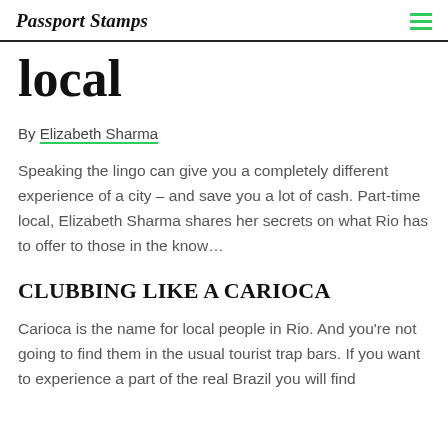Passport Stamps
local
By Elizabeth Sharma
Speaking the lingo can give you a completely different experience of a city – and save you a lot of cash. Part-time local, Elizabeth Sharma shares her secrets on what Rio has to offer to those in the know…
CLUBBING LIKE A CARIOCA
Carioca is the name for local people in Rio. And you're not going to find them in the usual tourist trap bars. If you want to experience a part of the real Brazil you will find